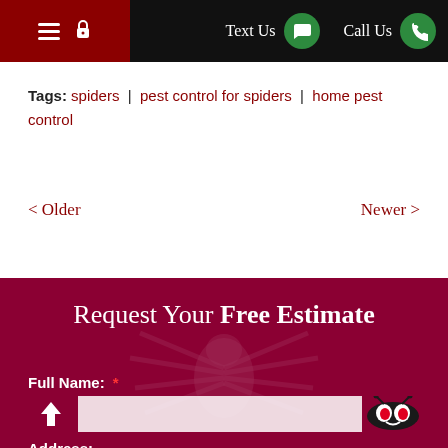≡ 🔒  Text Us  Call Us
Tags: spiders | pest control for spiders | home pest control
< Older    Newer >
Request Your Free Estimate
Full Name: *
Address: